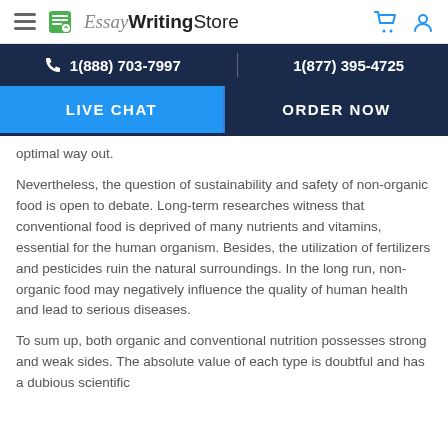[Figure (logo): EssayWritingStore logo with hamburger menu, notebook icon, and cart/user icons]
1(888) 703-7997   1(877) 395-4725
LIVE CHAT   ORDER NOW
optimal way out.
Nevertheless, the question of sustainability and safety of non-organic food is open to debate. Long-term researches witness that conventional food is deprived of many nutrients and vitamins, essential for the human organism. Besides, the utilization of fertilizers and pesticides ruin the natural surroundings. In the long run, non-organic food may negatively influence the quality of human health and lead to serious diseases.
To sum up, both organic and conventional nutrition possesses strong and weak sides. The absolute value of each type is doubtful and has a dubious scientific